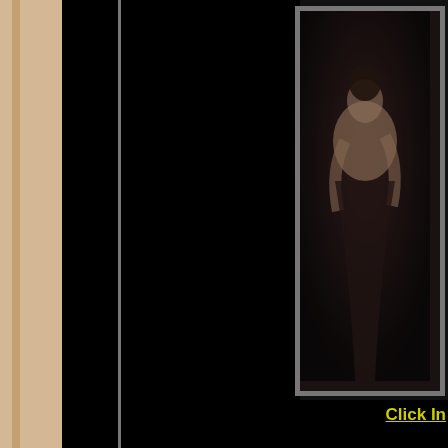[Figure (photo): Painting thumbnail of a figure study, dark tones, partially visible, framed in gray border, top-right corner of page]
Click In
return of t
mk247 c.1619,oil on canvas,42x56 in,107x1
Pain
[Figure (photo): Small stretched canvas service thumbnail showing a wooden canvas stretcher frame corner]
Stretched Service
| INCHES | CM | P |
| --- | --- | --- |
| 16x20 | 40x50 |  |
| 20x24 | 50x60 |  |
| 24x36 | 60x90 |  |
| 30x40 | 75x100 |  |